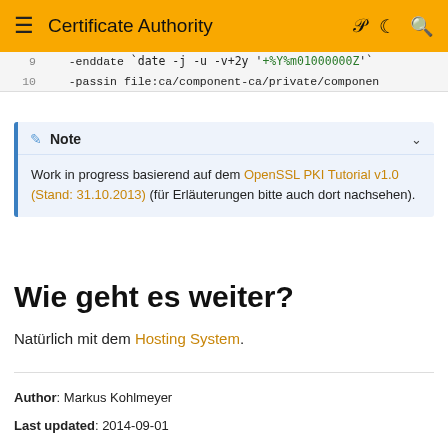Certificate Authority
9   -enddate `date -j -u -v+2y '+%Y%m01000000Z'`
10   -passin file:ca/component-ca/private/componen
Note
Work in progress basierend auf dem OpenSSL PKI Tutorial v1.0 (Stand: 31.10.2013) (für Erläuterungen bitte auch dort nachsehen).
Wie geht es weiter?
Natürlich mit dem Hosting System.
Author: Markus Kohlmeyer
Last updated: 2014-09-01